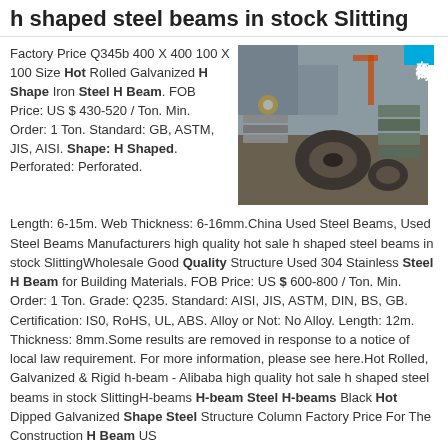h shaped steel beams in stock Slitting
Factory Price Q345b 400 X 400 100 X 100 Size Hot Rolled Galvanized H Shape Iron Steel H Beam. FOB Price: US $ 430-520 / Ton. Min. Order: 1 Ton. Standard: GB, ASTM, JIS, AISI. Shape: H Shaped. Perforated: Perforated.
[Figure (photo): Industrial steel beams and coils in a warehouse/factory setting, with Chinese chat badge overlay reading 在线咨询]
Length: 6-15m. Web Thickness: 6-16mm.China Used Steel Beams, Used Steel Beams Manufacturers high quality hot sale h shaped steel beams in stock SlittingWholesale Good Quality Structure Used 304 Stainless Steel H Beam for Building Materials. FOB Price: US $ 600-800 / Ton. Min. Order: 1 Ton. Grade: Q235. Standard: AISI, JIS, ASTM, DIN, BS, GB. Certification: IS0, RoHS, UL, ABS. Alloy or Not: No Alloy. Length: 12m. Thickness: 8mm.Some results are removed in response to a notice of local law requirement. For more information, please see here.Hot Rolled, Galvanized & Rigid h-beam - Alibaba high quality hot sale h shaped steel beams in stock SlittingH-beams H-beam Steel H-beams Black Hot Dipped Galvanized Shape Steel Structure Column Factory Price For The Construction H Beam US